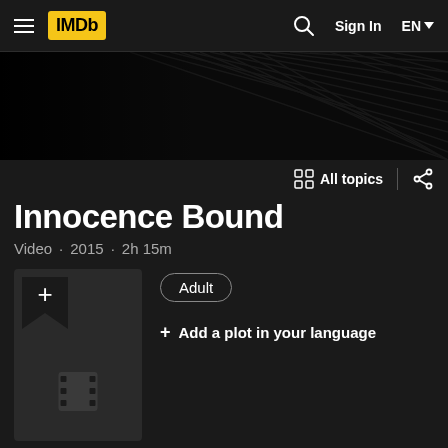IMDb  Sign In  EN
[Figure (screenshot): IMDb website header with hamburger menu, IMDb yellow logo, search icon, Sign In button, and EN language selector]
[Figure (illustration): Dark banner area with diagonal stripe pattern]
All topics
Innocence Bound
Video · 2015 · 2h 15m
[Figure (illustration): Movie poster placeholder with plus/add icon and film strip icon]
Adult
+ Add a plot in your language